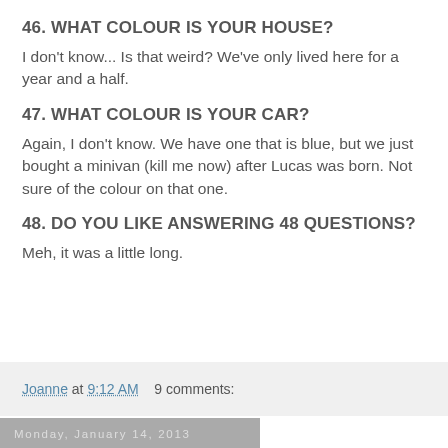46. WHAT COLOUR IS YOUR HOUSE?
I don't know... Is that weird?  We've only lived here for a year and a half.
47. WHAT COLOUR IS YOUR CAR?
Again, I don't know.  We have one that is blue, but we just bought a minivan (kill me now) after Lucas was born.  Not sure of the colour on that one.
48. DO YOU LIKE ANSWERING 48 QUESTIONS?
Meh, it was a little long.
Joanne at 9:12 AM    9 comments:
Monday, January 14, 2013